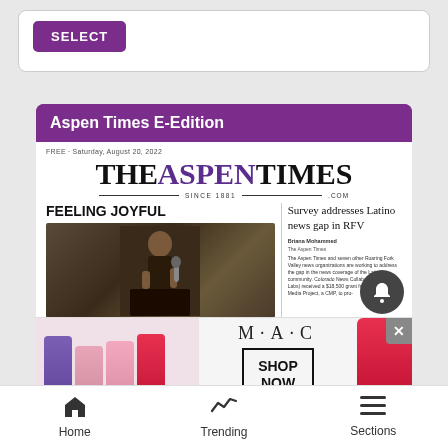[Figure (screenshot): SELECT button (purple) on a white card]
Aspen Times E-Edition
[Figure (screenshot): Aspen Times E-Edition newspaper front page showing 'FEELING JOYFUL' headline with photo of woman and 'Survey addresses Latino news gap in RFV' story]
[Figure (advertisement): MAC cosmetics advertisement showing lipsticks in purple, pink, and red with SHOP NOW button]
Home   Trending   Sections